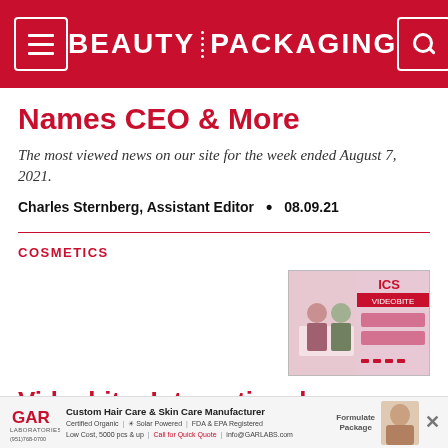BEAUTY PACKAGING
Names CEO & More
The most viewed news on our site for the week ended August 7, 2021.
Charles Sternberg, Assistant Editor  •  08.09.21
COSMETICS
[Figure (photo): ICS video bite thumbnail showing two people at a table with cosmetic products, ICS branding visible]
Videobite: International Cosmetic Suppliers (ICS)
GAR Laboratories — Custom Hair Care & Skin Care Manufacturer. Certified Organic | G Solar Powered | FDA & EPA Registered. Low Cost, 5000 pcs & up | Call for Quick Quote | info@GARLABS.com. Formulate | Package